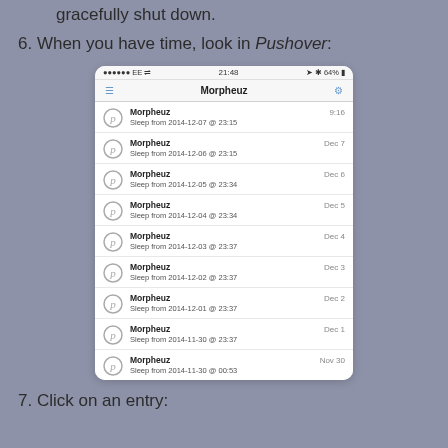gracefully shut down.
6. When you have time, look in Pushover:
[Figure (screenshot): iPhone screenshot of the Pushover app showing a list of Morpheuz notifications. Status bar shows '●●●●●● EE', '21:48', '64%'. Nav bar title is 'Morpheuz' with hamburger menu and settings icon. Notification list: Morpheuz 9:16 Sleep from 2014-12-07 @ 23:15; Morpheuz Dec 7 Sleep from 2014-12-06 @ 23:15; Morpheuz Dec 6 Sleep from 2014-12-05 @ 23:34; Morpheuz Dec 5 Sleep from 2014-12-04 @ 23:34; Morpheuz Dec 4 Sleep from 2014-12-03 @ 23:37; Morpheuz Dec 3 Sleep from 2014-12-02 @ 23:37; Morpheuz Dec 2 Sleep from 2014-12-01 @ 23:37; Morpheuz Dec 1 Sleep from 2014-11-30 @ 23:37; Morpheuz Nov 30 Sleep from 2014-11-30 @ 00:53]
7. Click on an entry: